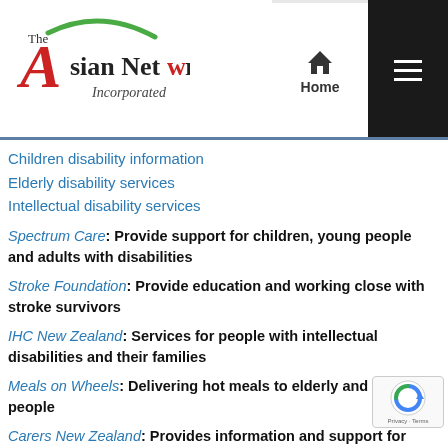[Figure (logo): The Asian Network Incorporated logo with red stylized 'A' and green arc]
[Figure (other): Navigation bar with Home icon and hamburger menu on dark background]
Children disability information
Elderly disability services
Intellectual disability services
Spectrum Care: Provide support for children, young people and adults with disabilities
Stroke Foundation: Provide education and working close with stroke survivors
IHC New Zealand: Services for people with intellectual disabilities and their families
Meals on Wheels: Delivering hot meals to elderly and disabled people
Carers New Zealand: Provides information and support for